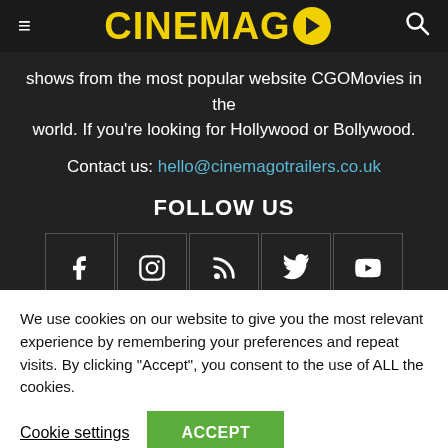CINEMAGO
shows from the most popular website CGOMovies in the world. If you're looking for Hollywood or Bollywood.
Contact us: hello@cinemagotrailers.co.uk
FOLLOW US
[Figure (infographic): Five social media icon buttons: Facebook, Instagram, RSS, Twitter, YouTube]
We use cookies on our website to give you the most relevant experience by remembering your preferences and repeat visits. By clicking “Accept”, you consent to the use of ALL the cookies.
Cookie settings   ACCEPT